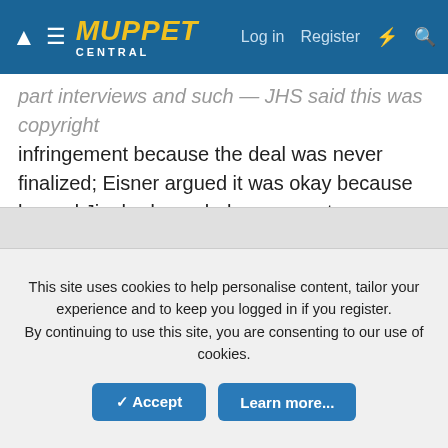Muppet Central — Log in  Register
part interviews and such — JHS said this was copyright infringement because the deal was never finalized; Eisner argued it was okay because he and Jim had a verbal agreement.
As for the latter, Jim said from the get-go the Sesame Muppets would not be included in the deal, but Eisner kept trying to get him to, but he was adament that they wouldn't be included, and grew increasingly frustrated that Eisner kept trying badger him into throwing them in.
This site uses cookies to help personalise content, tailor your experience and to keep you logged in if you register.
By continuing to use this site, you are consenting to our use of cookies.